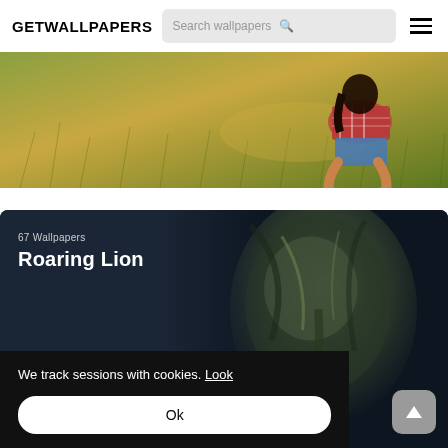GETWALLPAPERS  Search wallpapers  ☰
[Figure (photo): Outdoor nature photo showing a person kneeling on green grass field, wearing a red plaid shirt and denim shorts, cropped at torso level]
[Figure (photo): Dark themed wallpaper card showing a close-up of a roaring lion with text '67 Wallpapers' and title 'Roaring Lion' overlaid on a dark blue background]
67 Wallpapers
Roaring Lion
We track sessions with cookies.  Look
Ok